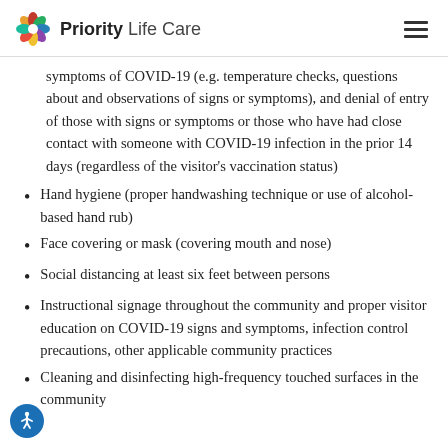Priority Life Care
symptoms of COVID-19 (e.g. temperature checks, questions about and observations of signs or symptoms), and denial of entry of those with signs or symptoms or those who have had close contact with someone with COVID-19 infection in the prior 14 days (regardless of the visitor's vaccination status)
Hand hygiene (proper handwashing technique or use of alcohol-based hand rub)
Face covering or mask (covering mouth and nose)
Social distancing at least six feet between persons
Instructional signage throughout the community and proper visitor education on COVID-19 signs and symptoms, infection control precautions, other applicable community practices
Cleaning and disinfecting high-frequency touched surfaces in the community